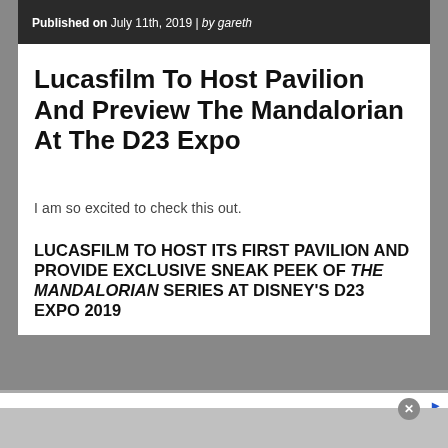Published on July 11th, 2019 | by gareth
Lucasfilm To Host Pavilion And Preview The Mandalorian At The D23 Expo
I am so excited to check this out.
LUCASFILM TO HOST ITS FIRST PAVILION AND PROVIDE EXCLUSIVE SNEAK PEEK OF THE MANDALORIAN SERIES AT DISNEY'S D23 EXPO 2019
[Figure (screenshot): Advertisement banner for Dickies® showing logo, tagline 'Official Site | Workwear & Apparel', description text, website URL, and a blue circular arrow button]